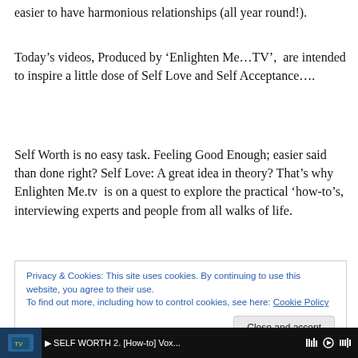easier to have harmonious relationships (all year round!).
Today’s videos, Produced by ‘Enlighten Me…TV’,  are intended to inspire a little dose of Self Love and Self Acceptance….
Self Worth is no easy task. Feeling Good Enough; easier said than done right? Self Love: A great idea in theory? That’s why Enlighten Me.tv  is on a quest to explore the practical ‘how-to’s, interviewing experts and people from all walks of life.
Privacy & Cookies: This site uses cookies. By continuing to use this website, you agree to their use.
To find out more, including how to control cookies, see here: Cookie Policy
[Close and accept]
[Figure (screenshot): Video player bar at bottom showing 'SELF WORTH 2. [How-to] Vox...' with thumbnail and controls]